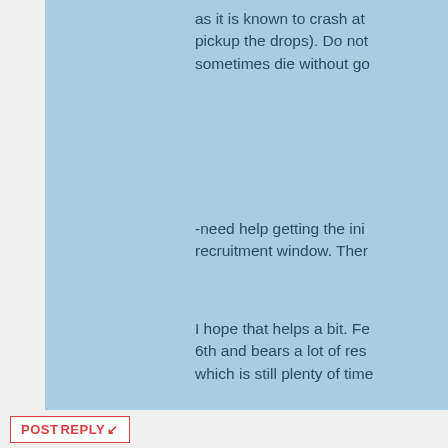as it is known to crash at pickup the drops). Do not sometimes die without go
-need help getting the ini recruitment window. The
I hope that helps a bit. Fe 6th and bears a lot of res which is still plenty of tim
https://onigiri.cyberstep.c
Ign: Riddras
Lv: stuck at Lv.132
b(O.o)b --- q(o.O)q
USPC 2014-2021
POSTREPLY ↙